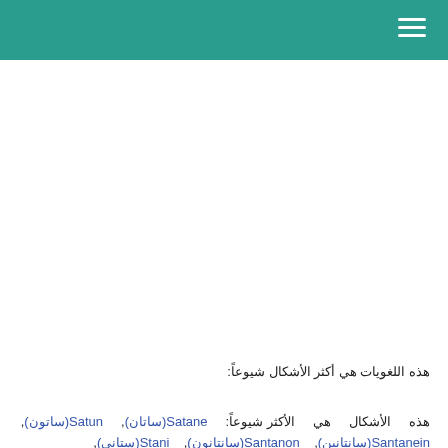هذه اللغويات هي أكثر الأشكال شيوعاً:
هذه الأشكال هي الأكثر شيوعاً: Satane(ساتان), Satun(ساتون), Santanein(سانتانين), Santanon(سانتانون), Stani(ستاني),